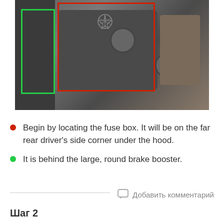[Figure (photo): Engine bay photograph showing a Mercedes-Benz fuse box cover with round bolt caps. A red bounding box highlights the fuse box area (center), and a green bounding box highlights a side panel area (left). Hoses and engine components visible.]
Begin by locating the fuse box. It will be on the far rear driver's side corner under the hood.
It is behind the large, round brake booster.
Добавить комментарий